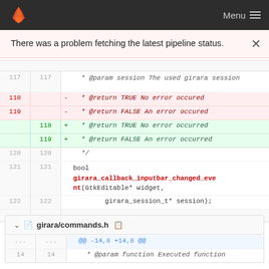Menu
There was a problem fetching the latest pipeline status.
[Figure (screenshot): GitLab diff view showing code changes to girara session function, lines 117-122 with removed and added @return documentation lines, and a girara_callback_inputbar_changed_event function signature]
girara/commands.h
@@ -14,8 +14,8 @@
14   14   * @param function Executed function